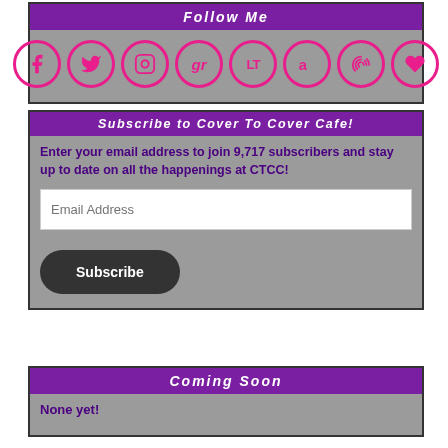Follow Me
[Figure (infographic): Row of 8 social media icon circles with pink borders on grey background: Facebook, Twitter, Instagram, Goodreads, LibraryThing, Amazon, Audible, and a heart/favorite icon.]
Subscribe to Cover To Cover Cafe!
Enter your email address to join 9,717 subscribers and stay up to date on all the happenings at CTCC!
Coming Soon
None yet!